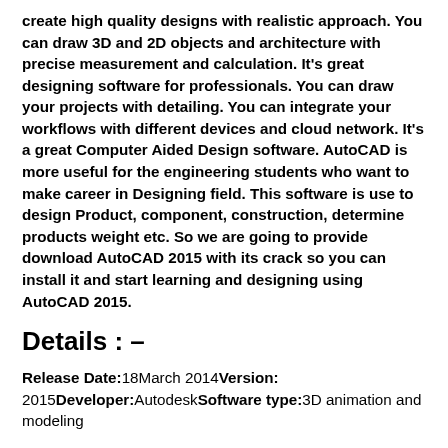create high quality designs with realistic approach. You can draw 3D and 2D objects and architecture with precise measurement and calculation. It's great designing software for professionals. You can draw your projects with detailing. You can integrate your workflows with different devices and cloud network. It's a great Computer Aided Design software. AutoCAD is more useful for the engineering students who want to make career in Designing field. This software is use to design Product, component, construction, determine products weight etc. So we are going to provide download AutoCAD 2015 with its crack so you can install it and start learning and designing using AutoCAD 2015.
Details : –
Release Date:18March 2014Version: 2015Developer:AutodeskSoftware type:3D animation and modeling